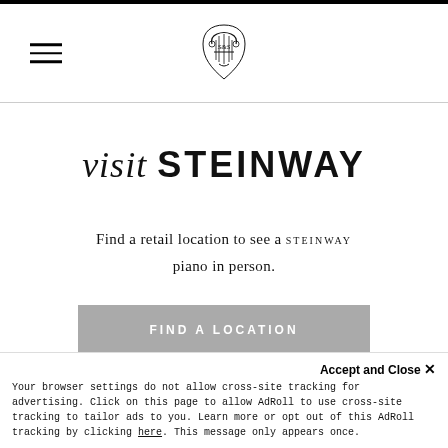[Figure (logo): Steinway & Sons ornate lyre logo mark centered in header]
visit STEINWAY
Find a retail location to see a STEINWAY piano in person.
FIND A LOCATION
Accept and Close ×
Your browser settings do not allow cross-site tracking for advertising. Click on this page to allow AdRoll to use cross-site tracking to tailor ads to you. Learn more or opt out of this AdRoll tracking by clicking here. This message only appears once.